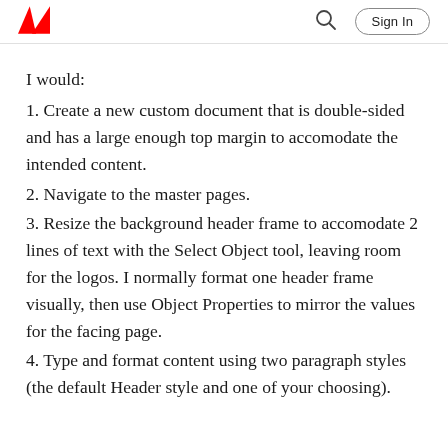Adobe | Sign In
I would:
1. Create a new custom document that is double-sided and has a large enough top margin to accomodate the intended content.
2. Navigate to the master pages.
3. Resize the background header frame to accomodate 2 lines of text with the Select Object tool, leaving room for the logos. I normally format one header frame visually, then use Object Properties to mirror the values for the facing page.
4. Type and format content using two paragraph styles (the default Header style and one of your choosing).